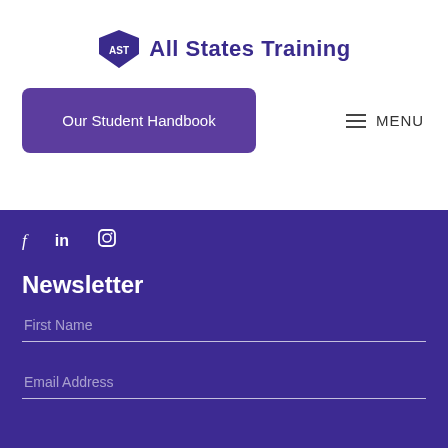[Figure (logo): All States Training logo with AST shield/map icon in purple and text 'All States Training']
Our Student Handbook
MENU
f  in  (instagram icon)
Newsletter
First Name
Email Address